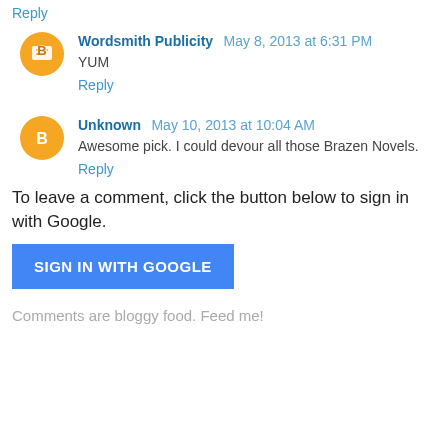Reply
Wordsmith Publicity  May 8, 2013 at 6:31 PM
YUM
Reply
Unknown  May 10, 2013 at 10:04 AM
Awesome pick. I could devour all those Brazen Novels.
Reply
To leave a comment, click the button below to sign in with Google.
SIGN IN WITH GOOGLE
Comments are bloggy food. Feed me!